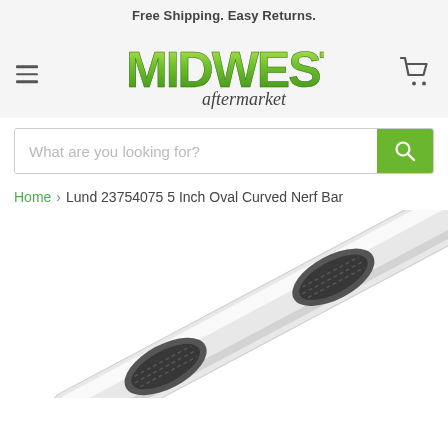Free Shipping. Easy Returns.
[Figure (logo): Midwest Aftermarket logo with green bold MIDWEST text and cursive aftermarket subtitle, hamburger menu icon on left, shopping cart icon on right]
What are you looking for?
Home › Lund 23754075 5 Inch Oval Curved Nerf Bar
[Figure (photo): A silver/white oval curved nerf bar (running board) shown diagonally with dark gray rubber step pads visible on the surface]